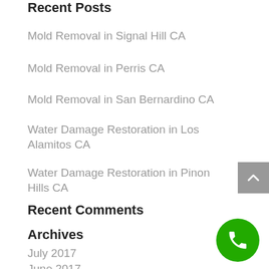Recent Posts
Mold Removal in Signal Hill CA
Mold Removal in Perris CA
Mold Removal in San Bernardino CA
Water Damage Restoration in Los Alamitos CA
Water Damage Restoration in Pinon Hills CA
Recent Comments
Archives
July 2017
June 2017